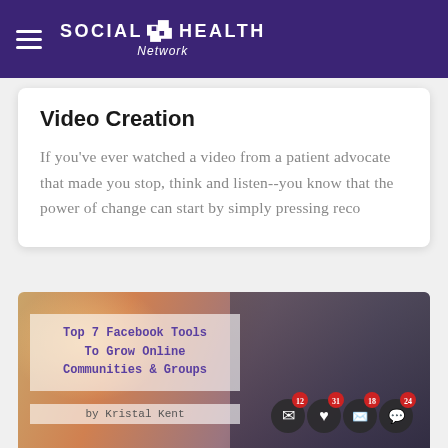Social Health Network
Video Creation
If you've ever watched a video from a patient advocate that made you stop, think and listen--you know that the power of change can start by simply pressing reco
[Figure (photo): Person holding a smartphone with social media notification icons floating above it. Overlay text reads 'Top 7 Facebook Tools To Grow Online Communities & Groups by Kristal Kent']
Top 7 Facebook Tools To Help Grow Online Communities And Groups